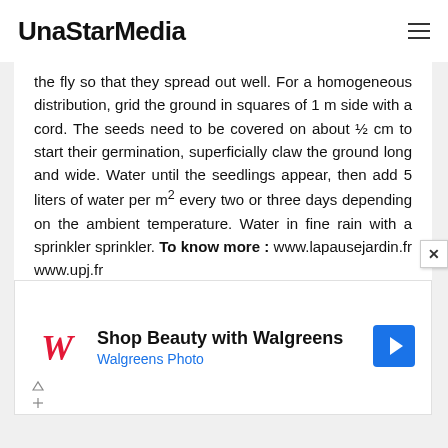UnaStarMedia
the fly so that they spread out well. For a homogeneous distribution, grid the ground in squares of 1 m side with a cord. The seeds need to be covered on about ½ cm to start their germination, superficially claw the ground long and wide. Water until the seedlings appear, then add 5 liters of water per m² every two or three days depending on the ambient temperature. Water in fine rain with a sprinkler sprinkler. To know more : www.lapausejardin.fr www.upj.fr
[Figure (other): Walgreens advertisement: Shop Beauty with Walgreens - Walgreens Photo, with Walgreens logo and navigation icon]